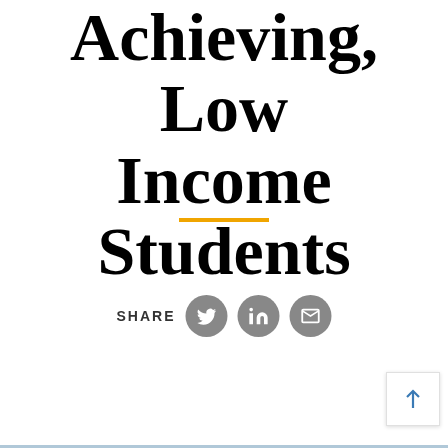Achieving, Low Income Students
[Figure (infographic): Orange horizontal divider line separating title from share section]
SHARE
[Figure (infographic): Social share icons: Twitter bird, LinkedIn 'in', Email envelope — all in grey circles]
[Figure (infographic): Back to top button with upward arrow in bottom-right corner]